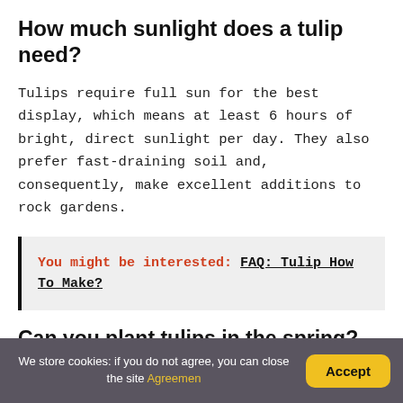How much sunlight does a tulip need?
Tulips require full sun for the best display, which means at least 6 hours of bright, direct sunlight per day. They also prefer fast-draining soil and, consequently, make excellent additions to rock gardens.
You might be interested: FAQ: Tulip How To Make?
Can you plant tulips in the spring?
Unlike other plants, when it comes to planting tulips in the spring, the colder it is, the better. Bulbs should be
We store cookies: if you do not agree, you can close the site Agreemen